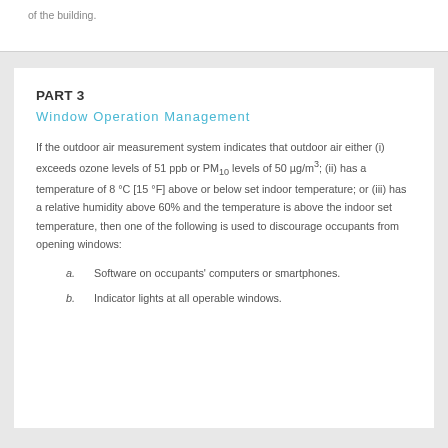of the building.
PART 3
Window Operation Management
If the outdoor air measurement system indicates that outdoor air either (i) exceeds ozone levels of 51 ppb or PM10 levels of 50 µg/m³; (ii) has a temperature of 8 °C [15 °F] above or below set indoor temperature; or (iii) has a relative humidity above 60% and the temperature is above the indoor set temperature, then one of the following is used to discourage occupants from opening windows:
a.    Software on occupants' computers or smartphones.
b.    Indicator lights at all operable windows.